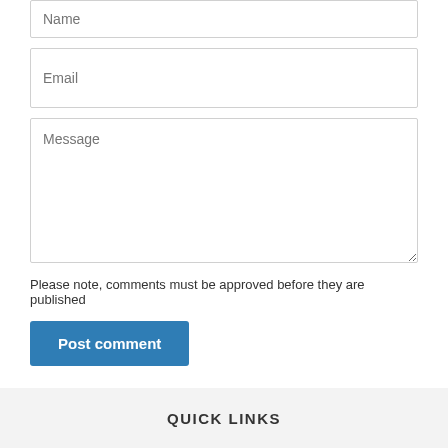Name
Email
Message
Please note, comments must be approved before they are published
Post comment
QUICK LINKS